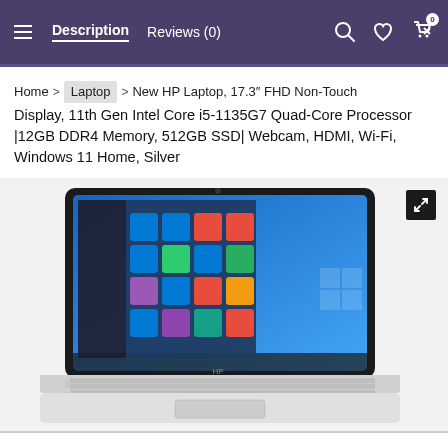Description  Reviews (0)
Home > Laptop > New HP Laptop, 17.3" FHD Non-Touch Display, 11th Gen Intel Core i5-1135G7 Quad-Core Processor |12GB DDR4 Memory, 512GB SSD| Webcam, HDMI, Wi-Fi, Windows 11 Home, Silver
[Figure (photo): HP laptop with white body shown open, displaying the Windows 10 Start menu on a blue desktop background. The laptop has a black screen bezel, silver keyboard, and white palm rest.]